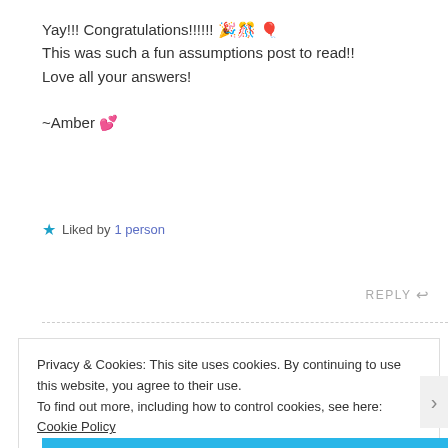Yay!!! Congratulations!!!!!! 🎉🎊🎈
This was such a fun assumptions post to read!!
Love all your answers!

~Amber 💕
★ Liked by 1 person
REPLY ↩
Privacy & Cookies: This site uses cookies. By continuing to use this website, you agree to their use.
To find out more, including how to control cookies, see here: Cookie Policy
Close and accept